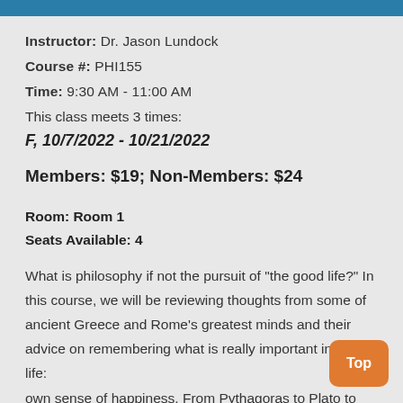Instructor: Dr. Jason Lundock
Course #: PHI155
Time: 9:30 AM - 11:00 AM
This class meets 3 times:
F, 10/7/2022 - 10/21/2022
Members: $19; Non-Members: $24
Room: Room 1
Seats Available: 4
What is philosophy if not the pursuit of "the good life?" In this course, we will be reviewing thoughts from some of ancient Greece and Rome's greatest minds and their advice on remembering what is really important in life: own sense of happiness. From Pythagoras to Plato to